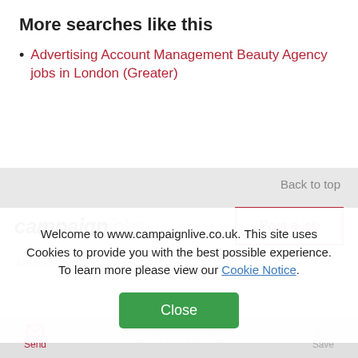More searches like this
Advertising Account Management Beauty Agency jobs in London (Greater)
Back to top
[Figure (logo): campaignjobs logo — 'campaign' in bold black italic, 'jobs' in light gray italic]
Post a job
About the site
Welcome to www.campaignlive.co.uk. This site uses Cookies to provide you with the best possible experience. To learn more please view our Cookie Notice.
Terms & Conditions
Close